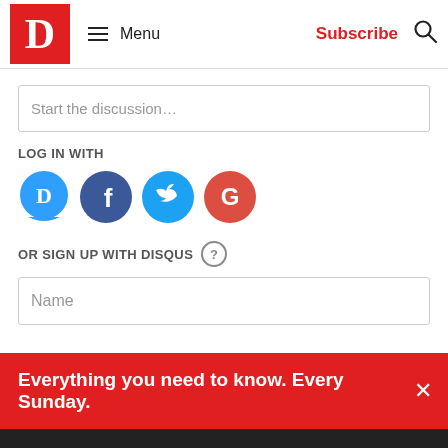D — Menu | Subscribe
Start the discussion…
LOG IN WITH
[Figure (illustration): Social login icons: Disqus (D, blue speech bubble circle), Facebook (f, dark blue circle), Twitter (bird, light blue circle), Google (G, red circle)]
OR SIGN UP WITH DISQUS ?
Name
Everything you need to know. Every Sunday.
We use cookies to ensure that we give you the best experience on our website. If you continue to use this site we will assume that you are happy with it.
GOT IT!